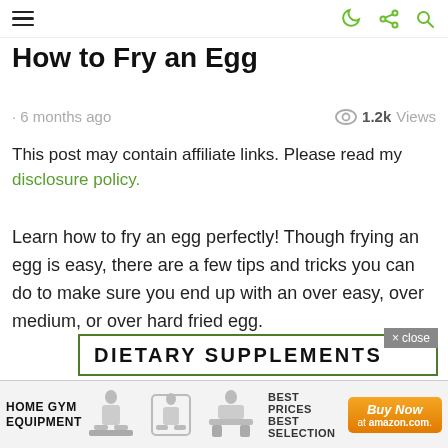How to Fry an Egg — navigation bar with hamburger menu and icons
How to Fry an Egg
· 6 months ago   1.2k Views
This post may contain affiliate links. Please read my disclosure policy.
Learn how to fry an egg perfectly! Though frying an egg is easy, there are a few tips and tricks you can do to make sure you end up with an over easy, over medium, or over hard fried egg.
[Figure (screenshot): Advertisement banner for Dietary Supplements]
[Figure (screenshot): Footer advertisement for Home Gym Equipment at Amazon with Buy Now button]